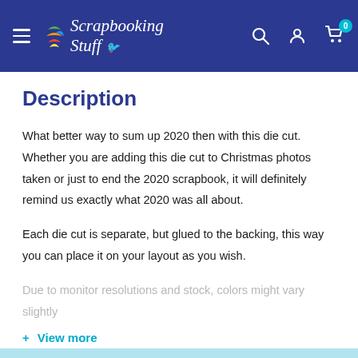Scrapbooking Stuff — navigation header
Description
What better way to sum up 2020 then with this die cut. Whether you are adding this die cut to Christmas photos taken or just to end the 2020 scrapbook, it will definitely remind us exactly what 2020 was all about.
Each die cut is separate, but glued to the backing, this way you can place it on your layout as you wish.
Due to monitor resolutions and stock, colors might vary slightly
+ View more